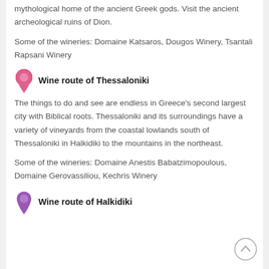mythological home of the ancient Greek gods. Visit the ancient archeological ruins of Dion.
Some of the wineries: Domaine Katsaros, Dougos Winery, Tsantali Rapsani Winery
Wine route of Thessaloniki
The things to do and see are endless in Greece's second largest city with Biblical roots. Thessaloniki and its surroundings have a variety of vineyards from the coastal lowlands south of Thessaloniki in Halkidiki to the mountains in the northeast.
Some of the wineries: Domaine Anestis Babatzimopoulous, Domaine Gerovassiliou, Kechris Winery
Wine route of Halkidiki